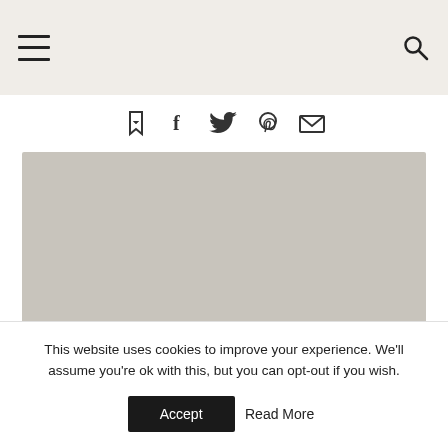Navigation header with menu and search icons
[Figure (other): Social share bar with icons: bookmark/save, Facebook, Twitter, Pinterest, Email]
[Figure (photo): Large placeholder image area with grey background]
This website uses cookies to improve your experience. We'll assume you're ok with this, but you can opt-out if you wish.
Accept   Read More